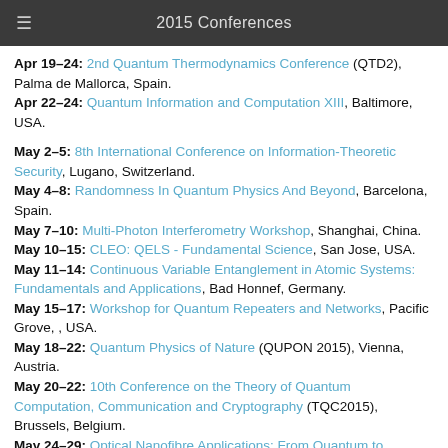2015 Conferences
Apr 19–24: 2nd Quantum Thermodynamics Conference (QTD2), Palma de Mallorca, Spain.
Apr 22–24: Quantum Information and Computation XIII, Baltimore, USA.
May 2–5: 8th International Conference on Information-Theoretic Security, Lugano, Switzerland.
May 4–8: Randomness In Quantum Physics And Beyond, Barcelona, Spain.
May 7–10: Multi-Photon Interferometry Workshop, Shanghai, China.
May 10–15: CLEO: QELS - Fundamental Science, San Jose, USA.
May 11–14: Continuous Variable Entanglement in Atomic Systems: Fundamentals and Applications, Bad Honnef, Germany.
May 15–17: Workshop for Quantum Repeaters and Networks, Pacific Grove, , USA.
May 18–22: Quantum Physics of Nature (QUPON 2015), Vienna, Austria.
May 20–22: 10th Conference on the Theory of Quantum Computation, Communication and Cryptography (TQC2015), Brussels, Belgium.
May 24–29: Optical Nanofibre Applications: From Quantum to